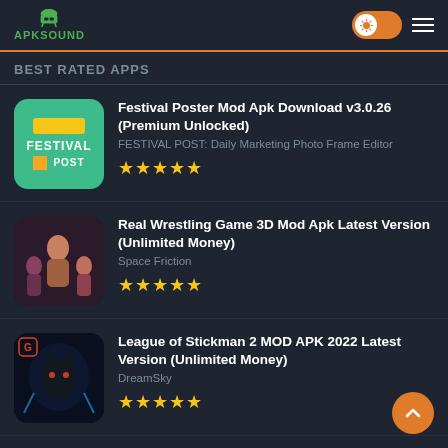APKSOUND
BEST RATED APPS
Festival Poster Mod Apk Download v3.0.26 (Premium Unlocked)
FESTIVAL POST: Daily Marketing Photo Frame Editor
★★★★★
Real Wrestling Game 3D Mod Apk Latest Version (Unlimited Money)
Space Friction
★★★★★
League of Stickman 2 MOD APK 2022 Latest Version (Unlimited Money)
DreamSky
★★★★★
After Effects Apk Download For Android (Pro Unlocked)
Adobe
★★★★